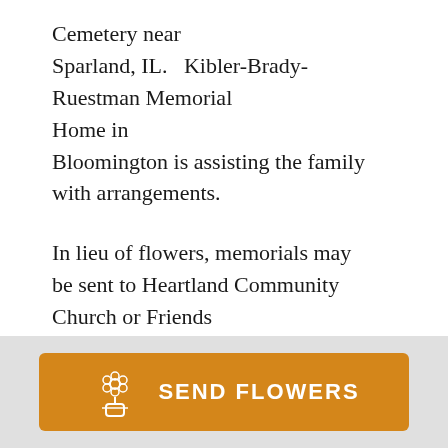Cemetery near Sparland, IL.   Kibler-Brady-Ruestman Memorial Home in Bloomington is assisting the family with arrangements.
In lieu of flowers, memorials may be sent to Heartland Community Church or Friends and Family Fellowship.
Online condolences may be sent to
[Figure (illustration): Orange 'SEND FLOWERS' button with a flower bouquet icon]